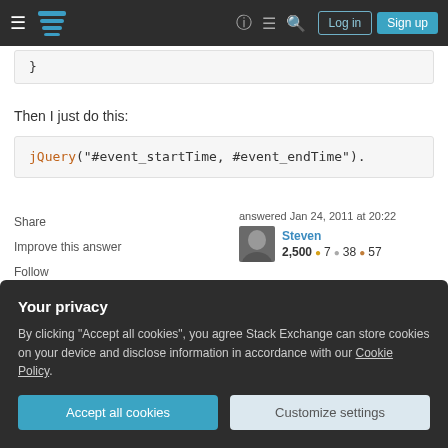Stack Exchange navigation bar with Log in and Sign up buttons
}
Then I just do this:
jQuery("#event_startTime, #event_endTime").
Share
Improve this answer
Follow
answered Jan 24, 2011 at 20:22
Steven
2,500 ●7 ●38 ●57
Add a comment
Your privacy
By clicking "Accept all cookies", you agree Stack Exchange can store cookies on your device and disclose information in accordance with our Cookie Policy.
Accept all cookies
Customize settings